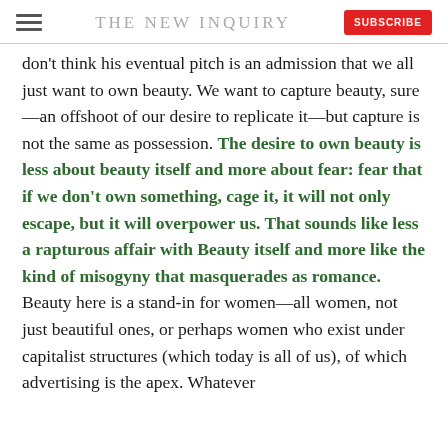THE NEW INQUIRY | SUBSCRIBE
don't think his eventual pitch is an admission that we all just want to own beauty. We want to capture beauty, sure—an offshoot of our desire to replicate it—but capture is not the same as possession. The desire to own beauty is less about beauty itself and more about fear: fear that if we don't own something, cage it, it will not only escape, but it will overpower us. That sounds like less a rapturous affair with Beauty itself and more like the kind of misogyny that masquerades as romance. Beauty here is a stand-in for women—all women, not just beautiful ones, or perhaps women who exist under capitalist structures (which today is all of us), of which advertising is the apex. Whatever